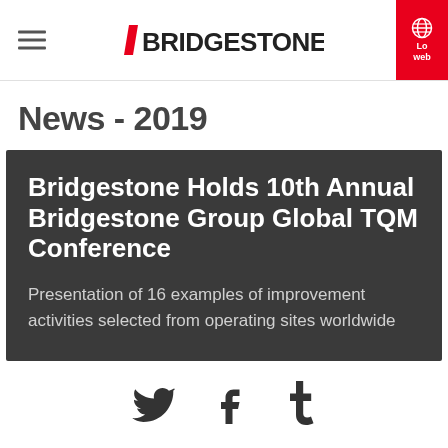Bridgestone (logo) — navigation header
News - 2019
Bridgestone Holds 10th Annual Bridgestone Group Global TQM Conference
Presentation of 16 examples of improvement activities selected from operating sites worldwide
[Figure (logo): Social media icons: Twitter, Facebook, Tumblr]